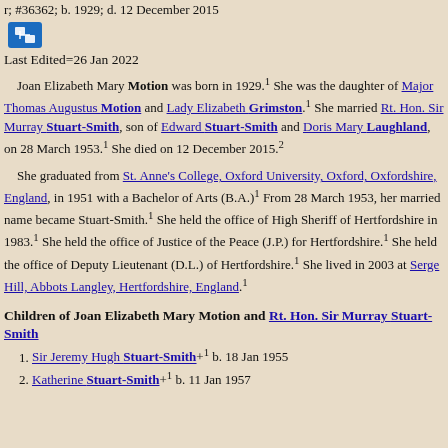r; #36362; b. 1929; d. 12 December 2015
[Figure (logo): Blue icon with document/merge symbol]
Last Edited=26 Jan 2022
Joan Elizabeth Mary Motion was born in 1929.1 She was the daughter of Major Thomas Augustus Motion and Lady Elizabeth Grimston.1 She married Rt. Hon. Sir Murray Stuart-Smith, son of Edward Stuart-Smith and Doris Mary Laughland, on 28 March 1953.1 She died on 12 December 2015.2
She graduated from St. Anne's College, Oxford University, Oxford, Oxfordshire, England, in 1951 with a Bachelor of Arts (B.A.)1 From 28 March 1953, her married name became Stuart-Smith.1 She held the office of High Sheriff of Hertfordshire in 1983.1 She held the office of Justice of the Peace (J.P.) for Hertfordshire.1 She held the office of Deputy Lieutenant (D.L.) of Hertfordshire.1 She lived in 2003 at Serge Hill, Abbots Langley, Hertfordshire, England.1
Children of Joan Elizabeth Mary Motion and Rt. Hon. Sir Murray Stuart-Smith
Sir Jeremy Hugh Stuart-Smith+ b. 18 Jan 1955
Katherine Stuart-Smith+ b. 11 Jan 1957